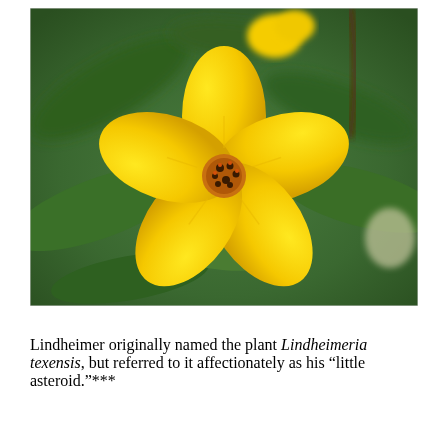[Figure (photo): Close-up photograph of a bright yellow five-petaled flower (Lindheimeria texensis) with a dark brown center cluster of stamens, surrounded by green leaves. A second yellow flower bud is visible in the upper background. The background is a soft blurred green.]
Lindheimer originally named the plant Lindheimeria texensis, but referred to it affectionately as his “little asteroid.”***